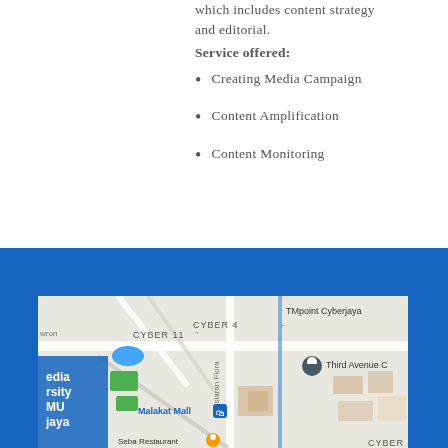which includes content strategy and editorial.
Service offered:
Creating Media Campaign
Content Amplification
Content Monitoring
[Figure (map): Google Maps showing Cyberjaya area with CYBER 11, CYBER 4, TMpoint Cyberjaya, Third Avenue C, Malakat Mall, and multimedia university locations marked.]